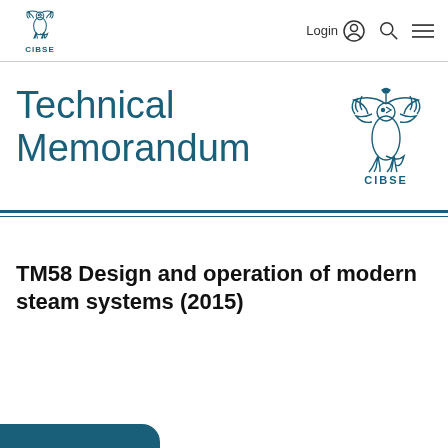CIBSE Login
Technical Memorandum
[Figure (logo): CIBSE griffin logo with text CIBSE below, in blue outline style]
TM58 Design and operation of modern steam systems (2015)